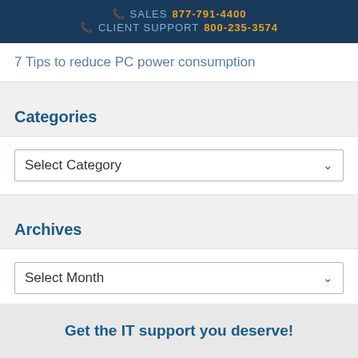SALES 877-791-4400 | CLIENT SUPPORT 800-235-3574
7 Tips to reduce PC power consumption
Categories
Select Category
Archives
Select Month
Get the IT support you deserve!